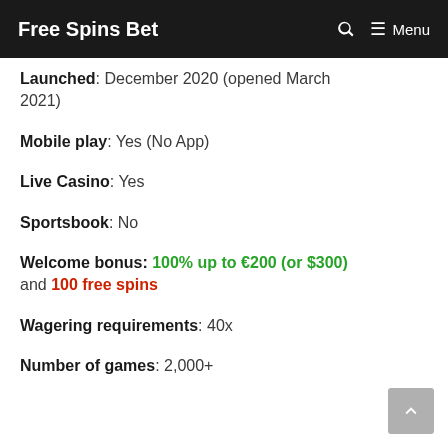Free Spins Bet
Launched: December 2020 (opened March 2021)
Mobile play: Yes (No App)
Live Casino: Yes
Sportsbook: No
Welcome bonus: 100% up to €200 (or $300) and 100 free spins
Wagering requirements: 40x
Number of games: 2,000+